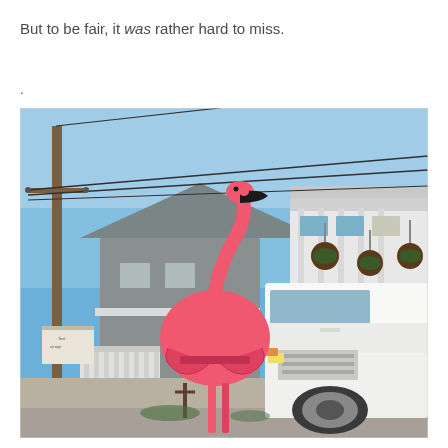But to be fair, it was rather hard to miss.
.
[Figure (photo): Outdoor photograph showing a large pink flamingo-shaped mailbox on a post in a coastal town street. Behind it are utility poles with power lines, a gray shingled house with white trim, a white building with hanging basket planters on the right, and a large white pickup truck on the right side. The sky is bright blue.]